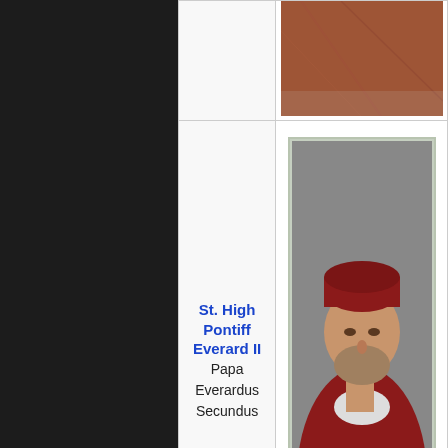| Name | Portrait |
| --- | --- |
| (partial top row) | (painting - top portion visible) |
| St. High Pontiff Everard II
Papa Everardus Secundus | (portrait painting of bearded man in red cardinal robes) |
| Bl. High Pontiff Lucien III
Papa Lucianus Tertius | (portrait painting of man in red cardinal robes) |